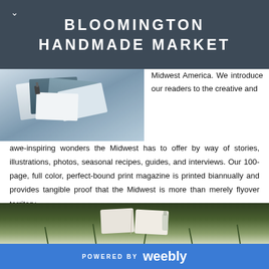BLOOMINGTON HANDMADE MARKET
[Figure (photo): Art supplies including sketchbooks and papers arranged on a surface, top-left image]
Midwest America. We introduce our readers to the creative and awe-inspiring wonders the Midwest has to offer by way of stories, illustrations, photos, seasonal recipes, guides, and interviews. Our 100-page, full color, perfect-bound print magazine is printed biannually and provides tangible proof that the Midwest is more than merely flyover territory.
[Figure (photo): Bottom image showing an open book or magazine on grass with plants around it]
POWERED BY weebly